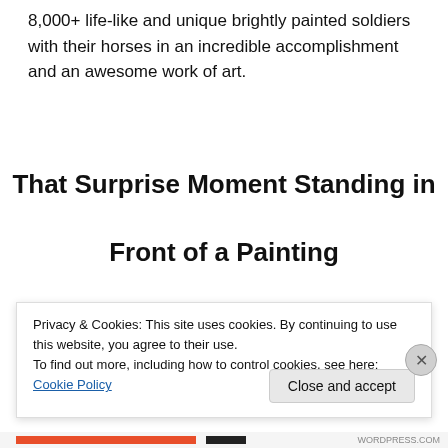8,000+ life-like and unique brightly painted soldiers with their horses in an incredible accomplishment and an awesome work of art.
That Surprise Moment Standing in Front of a Painting
[Figure (photo): Close-up photo of a dark blue painting with circular and geometric patterns, possibly depicting armor or decorative objects]
Privacy & Cookies: This site uses cookies. By continuing to use this website, you agree to their use.
To find out more, including how to control cookies, see here: Cookie Policy
Close and accept